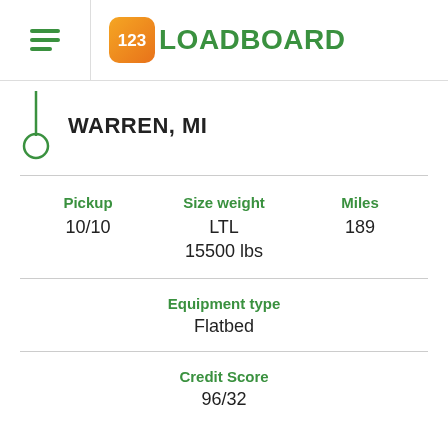123LOADBOARD
WARREN, MI
Pickup 10/10
Size weight LTL 15500 lbs
Miles 189
Equipment type Flatbed
Credit Score 96/32